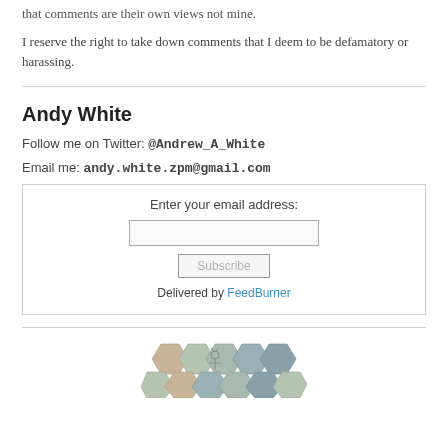that comments are their own views not mine.
I reserve the right to take down comments that I deem to be defamatory or harassing.
Andy White
Follow me on Twitter: @Andrew_A_White
Email me: andy.white.zpm@gmail.com
[Figure (other): Email subscription form with input field, Subscribe button, and Delivered by FeedBurner text]
[Figure (illustration): Hexagonal tile pattern illustration in muted pastel colors (tan, green, gray-blue)]